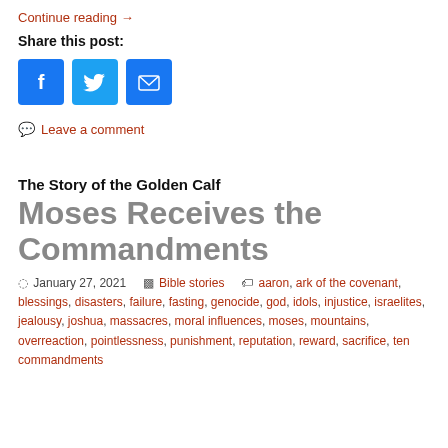Continue reading →
Share this post:
[Figure (infographic): Social share buttons: Facebook (blue), Twitter (blue), Email (blue)]
Leave a comment
The Story of the Golden Calf
Moses Receives the Commandments
January 27, 2021   Bible stories   aaron, ark of the covenant, blessings, disasters, failure, fasting, genocide, god, idols, injustice, israelites, jealousy, joshua, massacres, moral influences, moses, mountains, overreaction, pointlessness, punishment, reputation, reward, sacrifice, ten commandments